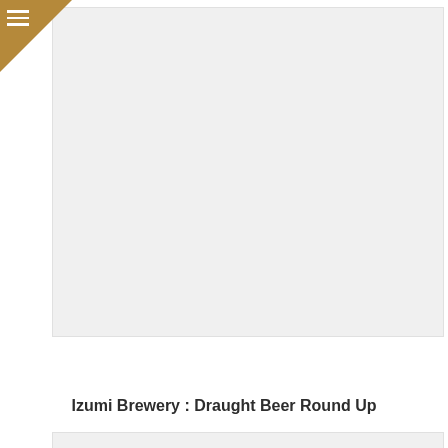[Figure (photo): Top image placeholder - light grey rectangle representing a photo]
Izumi Brewery : Draught Beer Round Up
[Figure (photo): Bottom image placeholder - light grey rectangle representing a photo]